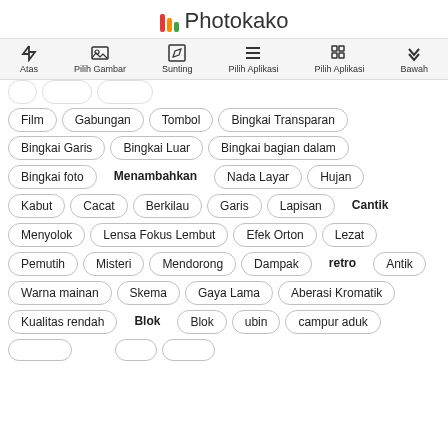Photokako
[Figure (screenshot): Navigation bar with icons: Atas, Pilih Gambar, Sunting, Pilih Aplikasi, Pilih Aplikasi, Bawah]
Film
Gabungan
Tombol
Bingkai Transparan
Bingkai Garis
Bingkai Luar
Bingkai bagian dalam
Bingkai foto
Menambahkan (bold)
Nada Layar
Hujan
Kabut
Cacat
Berkilau
Garis
Lapisan
Cantik (bold)
Menyolok
Lensa Fokus Lembut
Efek Orton
Lezat
Pemutih
Misteri
Mendorong
Dampak
retro (bold)
Antik
Warna mainan
Skema
Gaya Lama
Aberasi Kromatik
Kualitas rendah
Blok (bold)
Blok
ubin
campur aduk